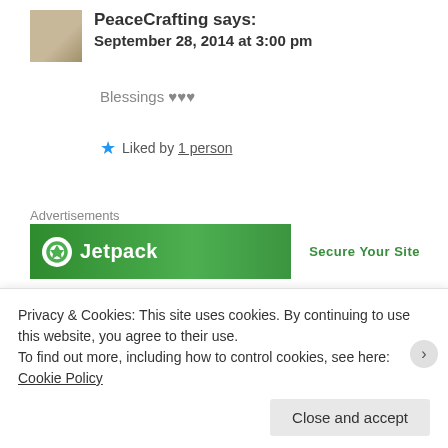PeaceCrafting says: September 28, 2014 at 3:00 pm
Blessings ♥♥♥
Liked by 1 person
Advertisements
[Figure (screenshot): Jetpack advertisement banner with green background and 'Secure Your Site' text]
ramonprds21 says:
Privacy & Cookies: This site uses cookies. By continuing to use this website, you agree to their use. To find out more, including how to control cookies, see here: Cookie Policy
Close and accept